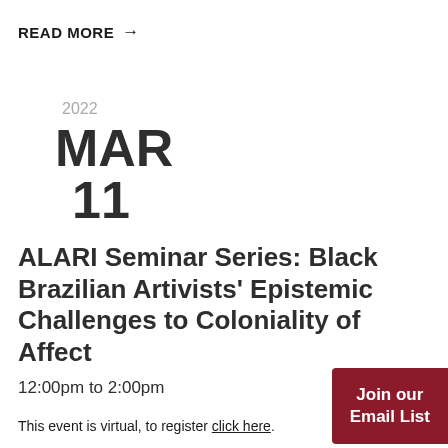READ MORE →
2022
MAR
11
ALARI Seminar Series: Black Brazilian Artivists' Epistemic Challenges to Coloniality of Affect
12:00pm to 2:00pm
Join our Email List
This event is virtual, to register click here.